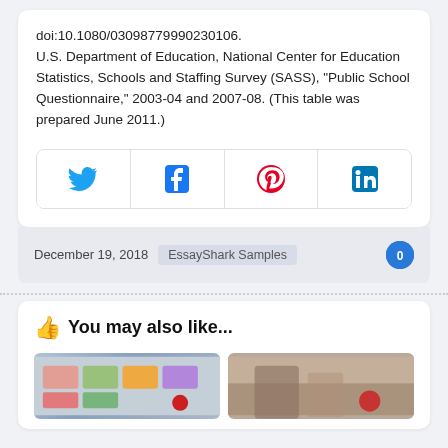doi:10.1080/03098779990230106. U.S. Department of Education, National Center for Education Statistics, Schools and Staffing Survey (SASS), “Public School Questionnaire,” 2003-04 and 2007-08. (This table was prepared June 2011.)
[Figure (infographic): Social share buttons row: Twitter, Facebook, Pinterest, LinkedIn]
December 19, 2018   EssayShark Samples   0
👍 You may also like...
[Figure (photo): Two thumbnail images side by side below the 'You may also like...' heading]